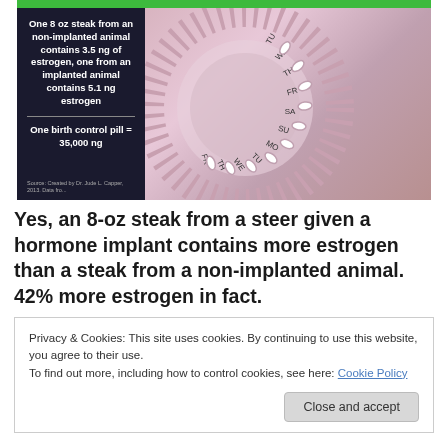[Figure (infographic): Infographic comparing estrogen content: one 8 oz steak from a non-implanted animal contains 3.5 ng of estrogen, one from an implanted animal contains 5.1 ng estrogen, one birth control pill = 35,000 ng. Background shows a birth control pill dispenser with pills.]
Yes, an 8-oz steak from a steer given a hormone implant contains more estrogen than a steak from a non-implanted animal. 42% more estrogen in fact.
Privacy & Cookies: This site uses cookies. By continuing to use this website, you agree to their use.
To find out more, including how to control cookies, see here: Cookie Policy
Close and accept